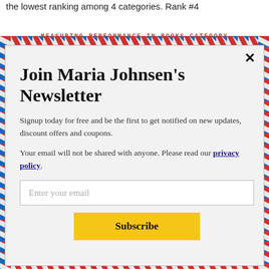the lowest ranking among 4 categories. Rank #4
Join Maria Johnsen's Newsletter
Signup today for free and be the first to get notified on new updates, discount offers and coupons.
Your email will not be shared with anyone. Please read our privacy policy.
Enter your email
Subscribe